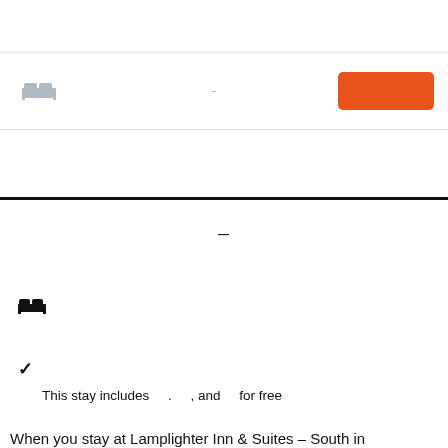[Figure (other): Hotel/lodging booking interface header with bed icon, dash placeholder, and orange button]
-
[Figure (other): Black horizontal rule divider]
-
[Figure (other): Black bed icon]
✓  This stay includes  .  , and  for free
When you stay at Lamplighter Inn & Suites – South in